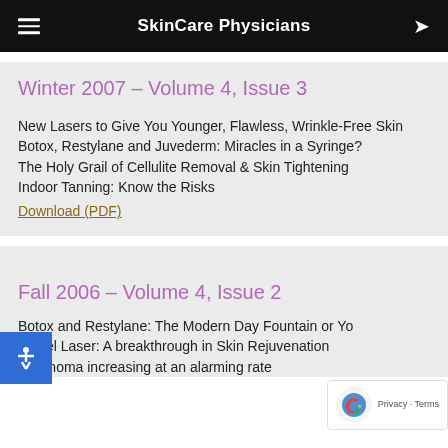SkinCare Physicians
Winter 2007 – Volume 4, Issue 3
New Lasers to Give You Younger, Flawless, Wrinkle-Free Skin
Botox, Restylane and Juvederm: Miracles in a Syringe?
The Holy Grail of Cellulite Removal & Skin Tightening
Indoor Tanning: Know the Risks
Download (PDF)
Fall 2006 – Volume 4, Issue 2
Botox and Restylane: The Modern Day Fountain or Yo
Fraxel Laser: A breakthrough in Skin Rejuvenation
Melanoma increasing at an alarming rate